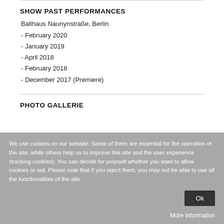SHOW PAST PERFORMANCES
Ballhaus Naunynstraße, Berlin
- February 2020
- January 2019
- April 2018
- February 2018
- December 2017 (Premiere)
PHOTO GALLERIE
We use cookies on our website. Some of them are essential for the operation of the site, while others help us to improve this site and the user experience (tracking cookies). You can decide for yourself whether you want to allow cookies or not. Please note that if you reject them, you may not be able to use all the functionalities of the site.
Ok
More information